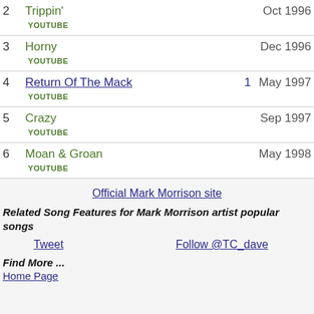2 Trippin' Oct 1996 YOUTUBE
3 Horny Dec 1996 YOUTUBE
4 Return Of The Mack 1 May 1997 YOUTUBE
5 Crazy Sep 1997 YOUTUBE
6 Moan & Groan May 1998 YOUTUBE
Official Mark Morrison site
Related Song Features for Mark Morrison artist popular songs
Tweet   Follow @TC_dave
Find More ...
Home Page